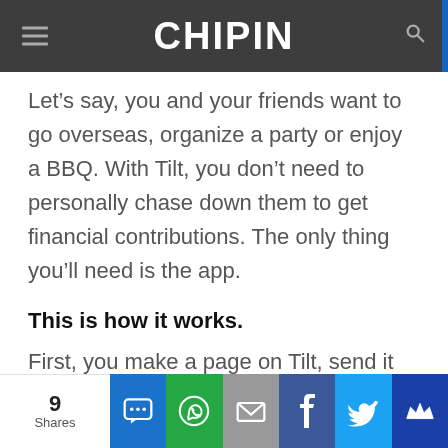CHIPIN
Let’s say, you and your friends want to go overseas, organize a party or enjoy a BBQ. With Tilt, you don’t need to personally chase down them to get financial contributions. The only thing you’ll need is the app.
This is how it works.
First, you make a page on Tilt, send it out to a group, then start collecting money.
Now, what if you don’t get enough funding?
9 Shares